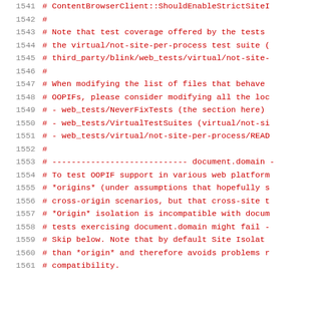Code listing lines 1541-1561 showing commented source code in a build/test configuration file, with line numbers on the left and red monospace code on the right.